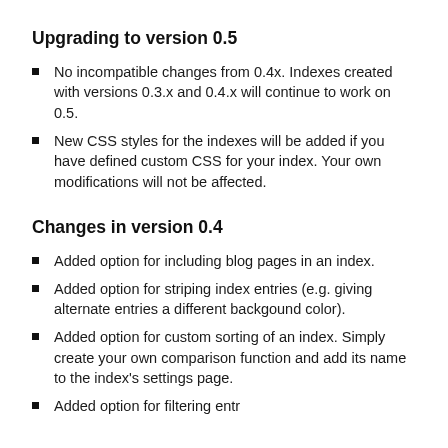Upgrading to version 0.5
No incompatible changes from 0.4x. Indexes created with versions 0.3.x and 0.4.x will continue to work on 0.5.
New CSS styles for the indexes will be added if you have defined custom CSS for your index. Your own modifications will not be affected.
Changes in version 0.4
Added option for including blog pages in an index.
Added option for striping index entries (e.g. giving alternate entries a different backgound color).
Added option for custom sorting of an index. Simply create your own comparison function and add its name to the index's settings page.
Added option for filtering entries (continues below)